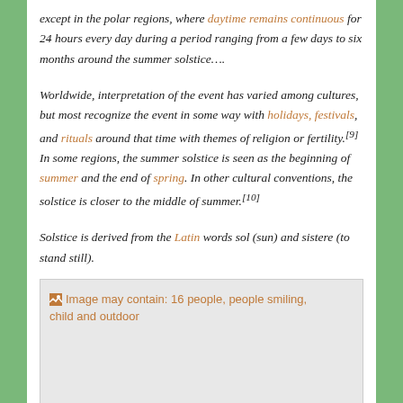except in the polar regions, where daytime remains continuous for 24 hours every day during a period ranging from a few days to six months around the summer solstice….
Worldwide, interpretation of the event has varied among cultures, but most recognize the event in some way with holidays, festivals, and rituals around that time with themes of religion or fertility.[9] In some regions, the summer solstice is seen as the beginning of summer and the end of spring. In other cultural conventions, the solstice is closer to the middle of summer.[10]
Solstice is derived from the Latin words sol (sun) and sistere (to stand still).
[Figure (photo): Image placeholder with alt text: Image may contain: 16 people, people smiling, child and outdoor]